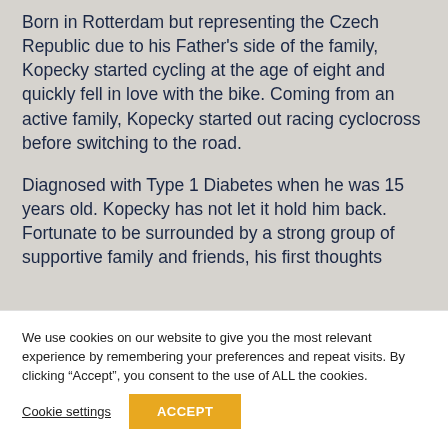Born in Rotterdam but representing the Czech Republic due to his Father's side of the family, Kopecky started cycling at the age of eight and quickly fell in love with the bike. Coming from an active family, Kopecky started out racing cyclocross before switching to the road.
Diagnosed with Type 1 Diabetes when he was 15 years old. Kopecky has not let it hold him back. Fortunate to be surrounded by a strong group of supportive family and friends, his first thoughts
We use cookies on our website to give you the most relevant experience by remembering your preferences and repeat visits. By clicking “Accept”, you consent to the use of ALL the cookies.
Cookie settings
ACCEPT